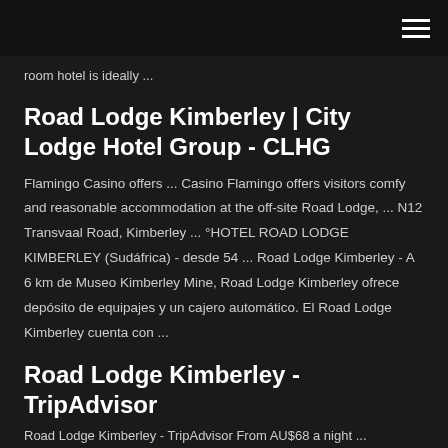room hotel is ideally ...
Road Lodge Kimberley | City Lodge Hotel Group - CLHG
Flamingo Casino offers ... Casino Flamingo offers visitors comfy and reasonable accommodation at the off-site Road Lodge, ... N12 Transvaal Road, Kimberley ... °HOTEL ROAD LODGE KIMBERLEY (Sudáfrica) - desde 54 ... Road Lodge Kimberley - A 6 km de Museo Kimberley Mine, Road Lodge Kimberley ofrece depósito de equipajes y un cajero automático. El Road Lodge Kimberley cuenta con ...
Road Lodge Kimberley - TripAdvisor
Road Lodge Kimberley - TripAdvisor From AU$68 a night ...